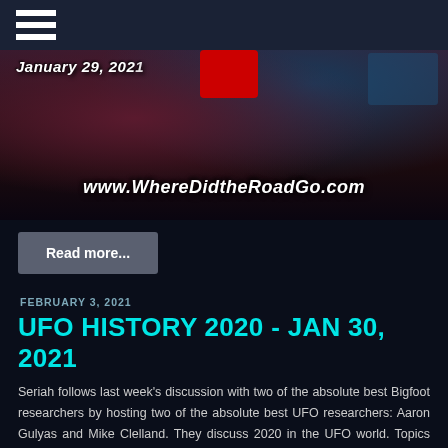[Figure (photo): Banner image for WhereDidtheRoadGo.com showing date January 29, 2021 and website URL www.WhereDidtheRoadGo.com with a red rectangle partially visible]
Read more...
FEBRUARY 3, 2021
UFO HISTORY 2020 - JAN 30, 2021
Seriah follows last week’s discussion with two of the absolute best Bigfoot researchers by hosting two of the absolute best UFO researchers: Aaron Gulyas and Mike Clelland. They discuss 2020 in the UFO world. Topics include disclosure, To The Stars Academy, military UFO